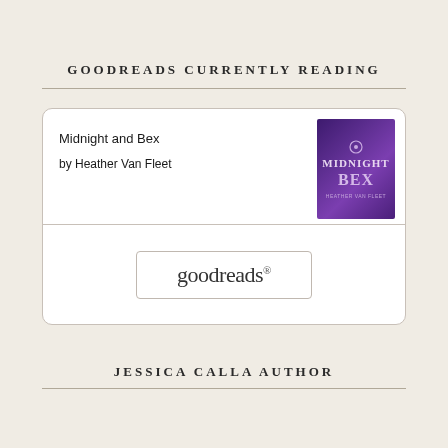GOODREADS CURRENTLY READING
[Figure (screenshot): Goodreads widget card showing book 'Midnight and Bex' by Heather Van Fleet with a purple book cover image and a Goodreads button]
JESSICA CALLA AUTHOR